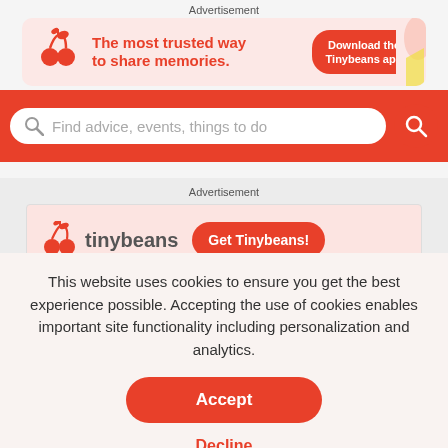Advertisement
[Figure (infographic): Tinybeans ad banner: logo with plant/cherry icon, text 'The most trusted way to share memories.', red button 'Download the Tinybeans app', decorative yellow/pink shapes on right]
[Figure (infographic): Red search bar with magnifier icon placeholder text 'Find advice, events, things to do' and red circular search button]
Advertisement
[Figure (infographic): Tinybeans ad banner with logo icon, 'tinybeans' text, and red 'Get Tinybeans!' button]
This website uses cookies to ensure you get the best experience possible. Accepting the use of cookies enables important site functionality including personalization and analytics.
Accept
Decline